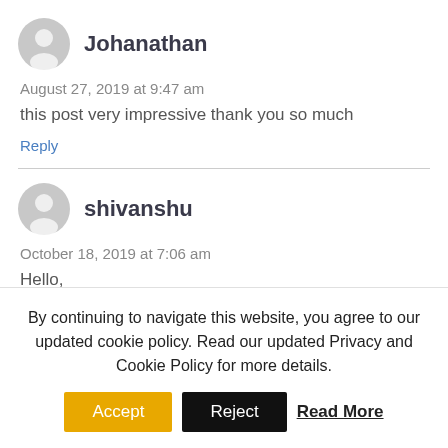Johanathan
August 27, 2019 at 9:47 am
this post very impressive thank you so much
Reply
shivanshu
October 18, 2019 at 7:06 am
Hello,
I m Really looking forward to reading more. Your
By continuing to navigate this website, you agree to our updated cookie policy. Read our updated Privacy and Cookie Policy for more details.